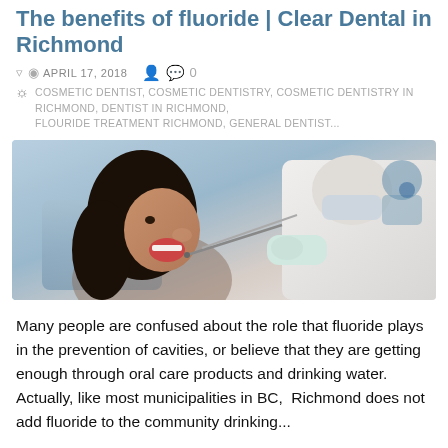The benefits of fluoride | Clear Dental in Richmond
APRIL 17, 2018   0
COSMETIC DENTIST, COSMETIC DENTISTRY, COSMETIC DENTISTRY IN RICHMOND, DENTIST IN RICHMOND, FLOURIDE TREATMENT RICHMOND, GENERAL DENTIST...
[Figure (photo): A dental patient (young woman with dark hair) sitting in a dental chair with mouth open while a dentist in white gloves examines her teeth using dental instruments.]
Many people are confused about the role that fluoride plays in the prevention of cavities, or believe that they are getting enough through oral care products and drinking water.  Actually, like most municipalities in BC,  Richmond does not add fluoride to the community drinking...
READ MORE